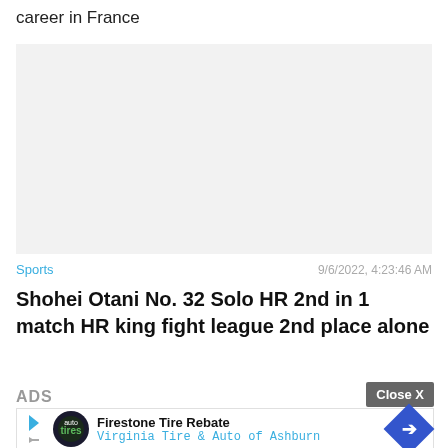career in France
[Figure (other): Gray placeholder advertisement block]
Sports   9/6/2022, 4:23:46 AM
Shohei Otani No. 32 Solo HR 2nd in 1 match HR king fight league 2nd place alone
ADS
[Figure (other): Firestone Tire Rebate advertisement banner - Virginia Tire & Auto of Ashburn]